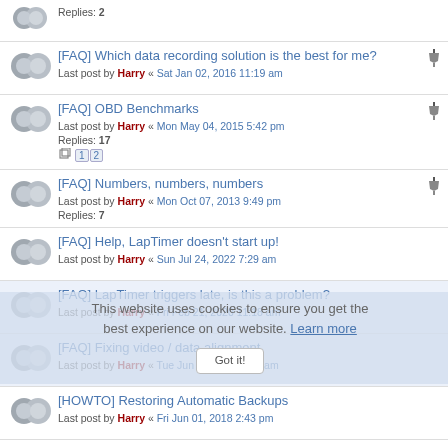Replies: 2
[FAQ] Which data recording solution is the best for me? Last post by Harry « Sat Jan 02, 2016 11:19 am
[FAQ] OBD Benchmarks Last post by Harry « Mon May 04, 2015 5:42 pm Replies: 17
[FAQ] Numbers, numbers, numbers Last post by Harry « Mon Oct 07, 2013 9:49 pm Replies: 7
[FAQ] Help, LapTimer doesn't start up! Last post by Harry « Sun Jul 24, 2022 7:29 am
[FAQ] LapTimer triggers late, is this a problem? Last post by Harry « Fri Feb 21, 2020 11:18 am
[FAQ] Fixing video / data alignment Last post by Harry « Tue Jun 12, 2018 8:54 am
[HOWTO] Restoring Automatic Backups Last post by Harry « Fri Jun 01, 2018 2:43 pm
[HOW-TO] RaceCapture Device Configuration Last post by Harry « Wed Apr 12, 2017 5:41 pm
This website uses cookies to ensure you get the best experience on our website. Learn more Got it!